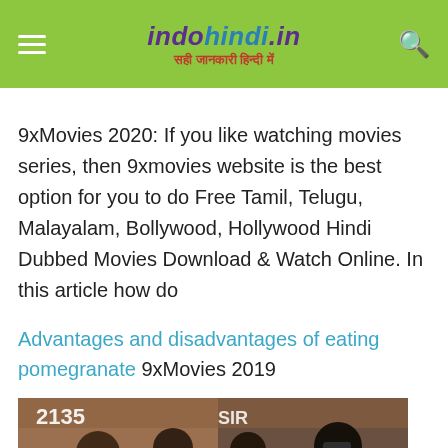indohindi.in — सही जानकारी हिन्दी में
9xMovies 2020: If you like watching movies series, then 9xmovies website is the best option for you to do Free Tamil, Telugu, Malayalam, Bollywood, Hollywood Hindi Dubbed Movies Download & Watch Online. In this article how do
Advantages and disadvantages of eating pomegranate 9xMovies 2019
[Figure (photo): A group of people standing near a train with number 2135, with a man wearing sunglasses on the right side]